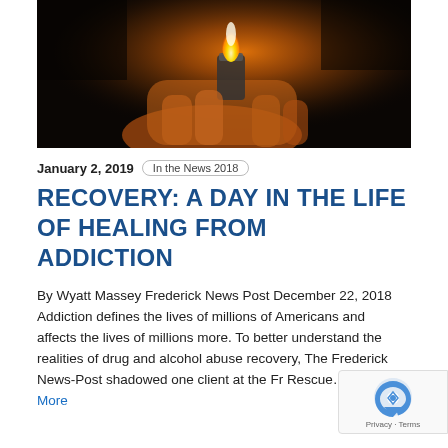[Figure (photo): Close-up photo of a hand holding a lighter with flame, dark background with warm orange lighting]
January 2, 2019   In the News 2018
RECOVERY: A DAY IN THE LIFE OF HEALING FROM ADDICTION
By Wyatt Massey Frederick News Post December 22, 2018 Addiction defines the lives of millions of Americans and affects the lives of millions more. To better understand the realities of drug and alcohol abuse recovery, The Frederick News-Post shadowed one client at the Fr Rescue... Read More